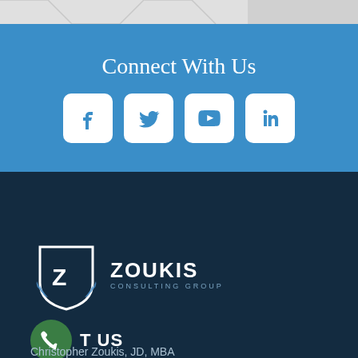[Figure (illustration): Top decorative geometric hexagon pattern strip in light grey]
Connect With Us
[Figure (infographic): Four social media icon buttons (Facebook, Twitter, YouTube, LinkedIn) in white rounded squares on blue background]
[Figure (logo): Zoukis Consulting Group logo — shield with Z and laurel wreath, white text ZOUKIS CONSULTING GROUP]
CONTACT US
Christopher Zoukis, JD, MBA